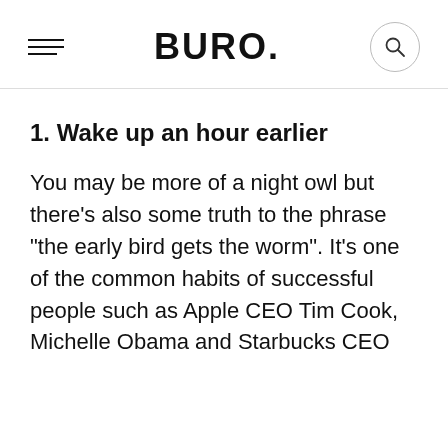BURO.
1. Wake up an hour earlier
You may be more of a night owl but there's also some truth to the phrase "the early bird gets the worm". It's one of the common habits of successful people such as Apple CEO Tim Cook, Michelle Obama and Starbucks CEO